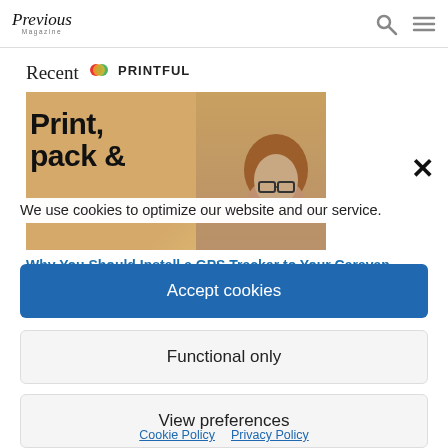Previous Magazine
[Figure (screenshot): Background page showing Recent section with Printful ad overlay and article image with 'Print, pack &' text. Article link: 'Why You Should Install a GPS Tracker to Your Caravan This Summer']
We use cookies to optimize our website and our service.
Accept cookies
Functional only
View preferences
Cookie Policy   Privacy Policy